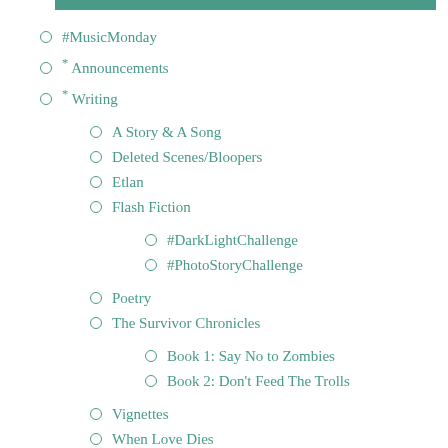#MusicMonday
* Announcements
* Writing
A Story & A Song
Deleted Scenes/Bloopers
Etlan
Flash Fiction
#DarkLightChallenge
#PhotoStoryChallenge
Poetry
The Survivor Chronicles
Book 1: Say No to Zombies
Book 2: Don't Feed The Trolls
Vignettes
When Love Dies